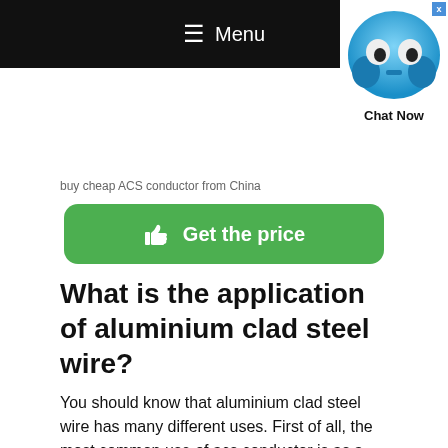≡ Menu
[Figure (illustration): Blue cartoon chat bubble mascot with eyes and a small nose, with 'Chat Now' label below. A close button (x) is in the top-right corner.]
buy cheap ACS conductor from China
[Figure (other): Green rounded button with thumb icon and text 'Get the price']
What is the application of aluminium clad steel wire?
You should know that aluminium clad steel wire has many different uses. First of all, the most common use of acs conductor is as a phase conductor in cable. Secondly, as a protector of other cables is one of the most important uses for aluminium clad steel wire.